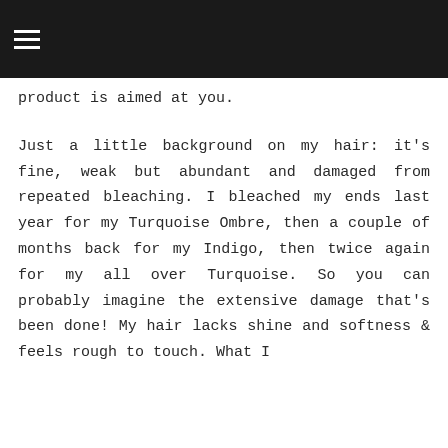product is aimed at you.
Just a little background on my hair: it's fine, weak but abundant and damaged from repeated bleaching. I bleached my ends last year for my Turquoise Ombre, then a couple of months back for my Indigo, then twice again for my all over Turquoise. So you can probably imagine the extensive damage that's been done! My hair lacks shine and softness & feels rough to touch. What I